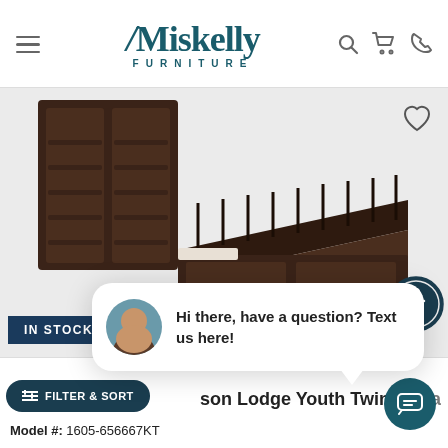Miskelly FURNITURE — navigation header with hamburger menu, search, cart, and phone icons
[Figure (photo): Dark espresso wood twin storage bed frame with slatted base and tall paneled headboard, shown at an angle on a light background. IN STOCK badge overlaid in bottom left.]
Hi there, have a question? Text us here!
son Lodge Youth Twin Stora
Model #: 1605-656667KT